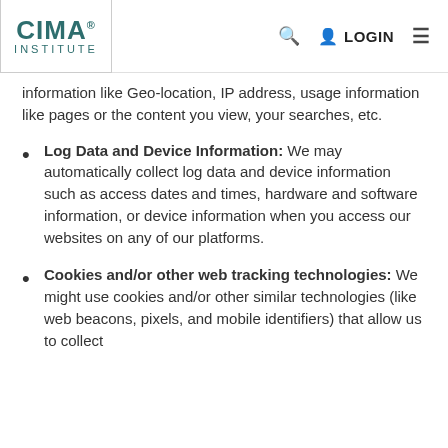CIMA INSTITUTE — LOGIN
information like Geo-location, IP address, usage information like pages or the content you view, your searches, etc.
Log Data and Device Information: We may automatically collect log data and device information such as access dates and times, hardware and software information, or device information when you access our websites on any of our platforms.
Cookies and/or other web tracking technologies: We might use cookies and/or other similar technologies (like web beacons, pixels, and mobile identifiers) that allow us to collect